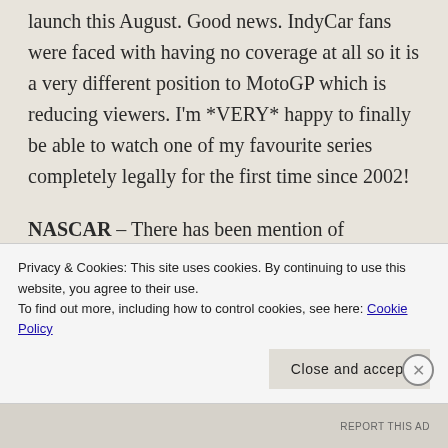launch this August. Good news. IndyCar fans were faced with having no coverage at all so it is a very different position to MotoGP which is reducing viewers. I'm *VERY* happy to finally be able to watch one of my favourite series completely legally for the first time since 2002!
NASCAR – There has been mention of NASCAR which I presume to be the 1-hour highlights show of the Sprint Cup. Time will tell. If so it might even mean I'll stay with Cup for a season for the first time.
Privacy & Cookies: This site uses cookies. By continuing to use this website, you agree to their use.
To find out more, including how to control cookies, see here: Cookie Policy
REPORT THIS AD